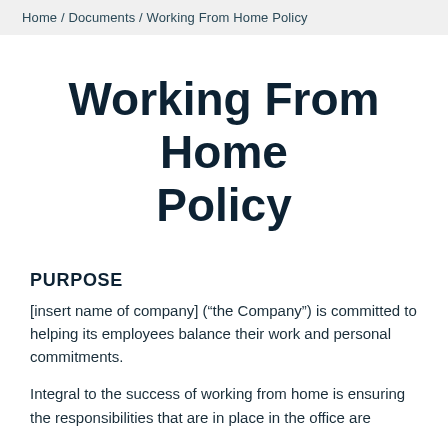Home / Documents / Working From Home Policy
Working From Home Policy
PURPOSE
[insert name of company] (“the Company”) is committed to helping its employees balance their work and personal commitments.
Integral to the success of working from home is ensuring the responsibilities that are in place in the office are